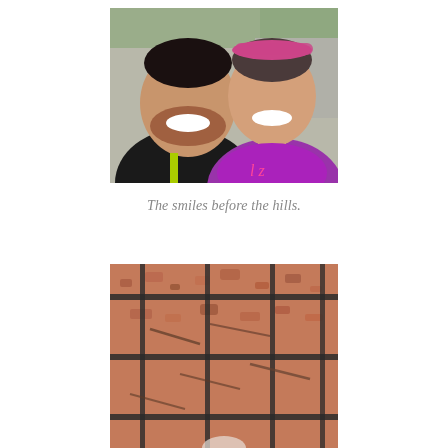[Figure (photo): Selfie photo of a smiling man and woman outdoors. Man on left wearing dark zip-up jacket with yellow accent, woman on right wearing purple athletic top and a pink/colorful headband. Background shows a paved path and greenery.]
The smiles before the hills.
[Figure (photo): Aerial or ground-level view of a reddish-brown gravel or bark path with dark metal fence rails visible. Partially visible image, cropped at bottom of page.]